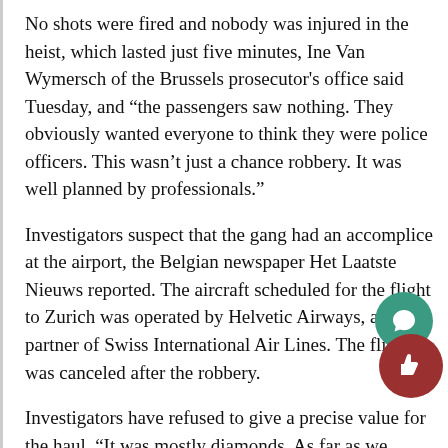No shots were fired and nobody was injured in the heist, which lasted just five minutes, Ine Van Wymersch of the Brussels prosecutor's office said Tuesday, and “the passengers saw nothing. They obviously wanted everyone to think they were police officers. This wasn’t just a chance robbery. It was well planned by professionals.”
Investigators suspect that the gang had an accomplice at the airport, the Belgian newspaper Het Laatste Nieuws reported. The aircraft scheduled for the flight to Zurich was operated by Helvetic Airways, a partner of Swiss International Air Lines. The flight was canceled after the robbery.
Investigators have refused to give a precise value for the haul. “It was mostly diamonds. As far as we know, there was no gold,” Anja Bijnens, another prosecution official, told reporters. According to the World Diamond